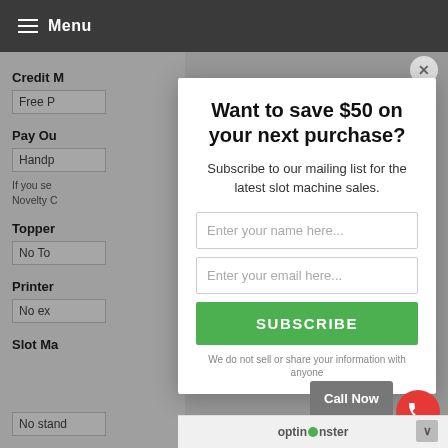Menu
Credit [truncated]
Free [truncated]
Pay Ou[truncated]
Handp[truncated]
If you sel[truncated] Novelty C[truncated]
Topper[truncated]
No To[truncated]
Printer[truncated]
No ex[truncated]
Slot Ma[truncated]
No stand
Want to save $50 on your next purchase?
Subscribe to our mailing list for the latest slot machine sales.
Enter your name here...
Enter your email here...
SUBSCRIBE
We do not sell or share your information with anyone
Call Now
optinmonster